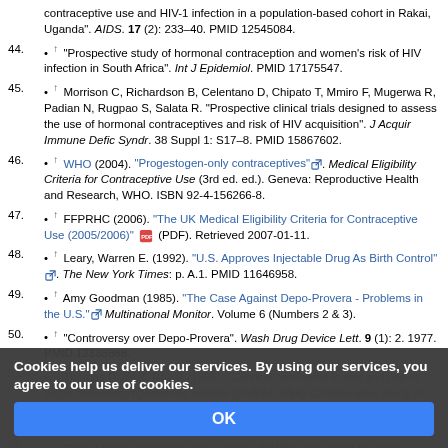contraceptive use and HIV-1 infection in a population-based cohort in Rakai, Uganda". AIDS. 17 (2): 233–40. PMID 12545084.
44. ↑ "Prospective study of hormonal contraception and women's risk of HIV infection in South Africa". Int J Epidemiol. PMID 17175547.
45. ↑ Morrison C, Richardson B, Celentano D, Chipato T, Mmiro F, Mugerwa R, Padian N, Rugpao S, Salata R. "Prospective clinical trials designed to assess the use of hormonal contraceptives and risk of HIV acquisition". J Acquir Immune Defic Syndr. 38 Suppl 1: S17–8. PMID 15867602.
46. ↑ WHO (2004). "Progestogen-only contraceptives". Medical Eligibility Criteria for Contraceptive Use (3rd ed. ed.). Geneva: Reproductive Health and Research, WHO. ISBN 92-4-156266-8.
47. ↑ FFPRHC (2006). "The UK Medical Eligibility Criteria for Contraceptive Use (2005/2006)" (PDF). Retrieved 2007-01-11.
48. ↑ Leary, Warren E. (1992). "U.S. Approves Injectable Drug As Birth Control". The New York Times: p. A.1. PMID 11646958.
49. ↑ Amy Goodman (1985). "The Case Against Depo-Provera - Problems in the U.S.". Multinational Monitor. Volume 6 (Numbers 2 & 3).
50. ↑ "Controversy over Depo-Provera". Wash Drug Device Lett. 9 (1): 2. 1977. PMID 12335988.
51. ↑ Thomas D, Ye Z, Ray R (1995). "Cervical carcinoma in situ and use of depot-medroxyprogesterone acetate (DMPA). WHO Collaborative Study of Neoplasia and Steroid Contraceptives". Contraception. 51 (1): 25–31. PMID 7750280.
52. ↑ "Depot-medroxyprogesterone acetate (DMPA) and risk of invasive
Cookies help us deliver our services. By using our services, you agree to our use of cookies.